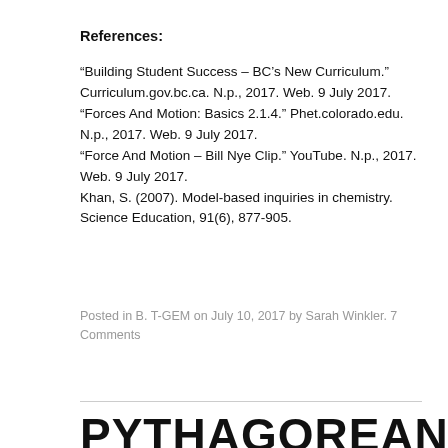References:
“Building Student Success – BC’s New Curriculum.” Curriculum.gov.bc.ca. N.p., 2017. Web. 9 July 2017.
“Forces And Motion: Basics 2.1.4.” Phet.colorado.edu. N.p., 2017. Web. 9 July 2017.
“Force And Motion – Bill Nye Clip.” YouTube. N.p., 2017. Web. 9 July 2017.
Khan, S. (2007). Model-based inquiries in chemistry. Science Education, 91(6), 877-905.
Posted in B. T-GEM on July 10, 2017 by Sarah Winkler. 7 Comments
PYTHAGOREAN THEOREM